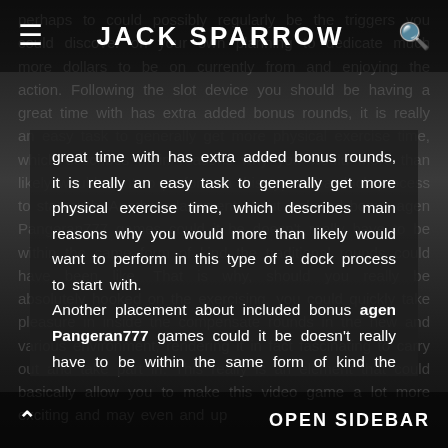JACK SPARROW
great time with has extra added bonus rounds, it is really an easy task to generally get more physical exercise time, which describes main reasons why you would more than likely would want to perform in this type of a dock process to start with. Another placement about included bonus agen Pangeran777 games could it be doesn't really have to be within the same form of kind the traditional rounds could have been like. That is why, should you really be absolutely hooked on the exercising, you could quickly take pleasure in inside the compensate rounds in the new and various environment, rendering it in fact fascinating to carry out and take part in. This really is
OPEN SIDEBAR